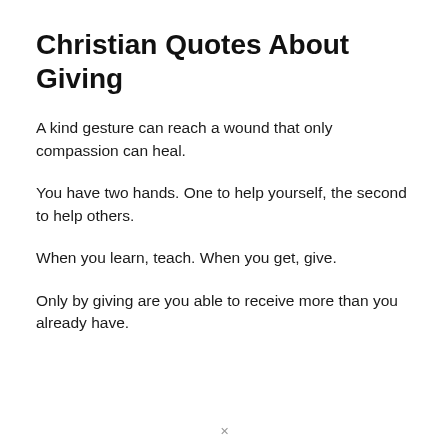Christian Quotes About Giving
A kind gesture can reach a wound that only compassion can heal.
You have two hands. One to help yourself, the second to help others.
When you learn, teach. When you get, give.
Only by giving are you able to receive more than you already have.